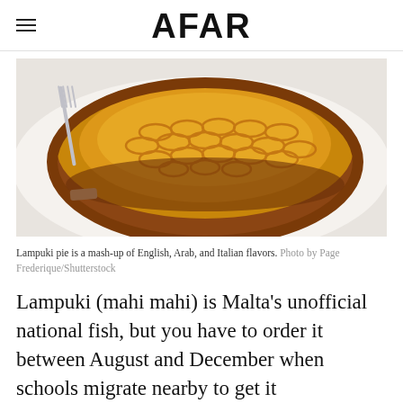AFAR
[Figure (photo): A golden-brown lampuki pie with a lattice pastry crust on a white plate, with a fork and knife visible in the background.]
Lampuki pie is a mash-up of English, Arab, and Italian flavors. Photo by Page Frederique/Shutterstock
Lampuki (mahi mahi) is Malta's unofficial national fish, but you have to order it between August and December when schools migrate nearby to get it